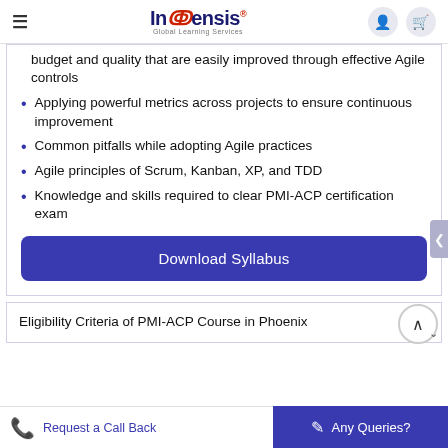Invensis Global Learning Services
budget and quality that are easily improved through effective Agile controls
Applying powerful metrics across projects to ensure continuous improvement
Common pitfalls while adopting Agile practices
Agile principles of Scrum, Kanban, XP, and TDD
Knowledge and skills required to clear PMI-ACP certification exam
Download Syllabus
Eligibility Criteria of PMI-ACP Course in Phoenix
Request a Call Back   Any Queries?